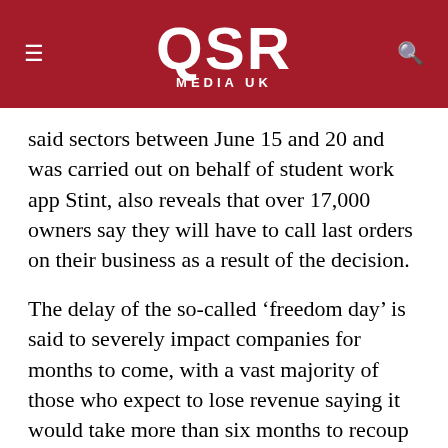QSR MEDIA UK
said sectors between June 15 and 20 and was carried out on behalf of student work app Stint, also reveals that over 17,000 owners say they will have to call last orders on their business as a result of the decision.
The delay of the so-called ‘freedom day’ is said to severely impact companies for months to come, with a vast majority of those who expect to lose revenue saying it would take more than six months to recoup the earnings lost during the four week delay.
27% of those business owners went on to say they will never recoup these losses.